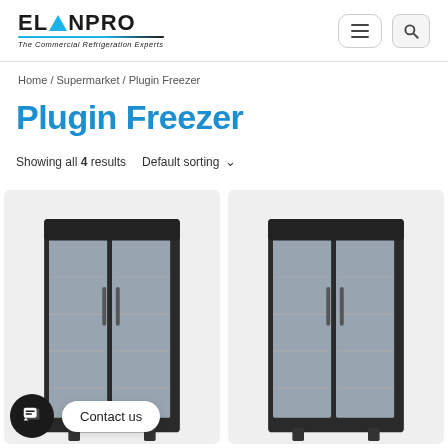ELANPRO The Commercial Refrigeration Experts
Home / Supermarket / Plugin Freezer
Plugin Freezer
Showing all 4 results  Default sorting
[Figure (photo): Two commercial upright glass-door plugin freezer units side by side on a light grey background]
Contact us